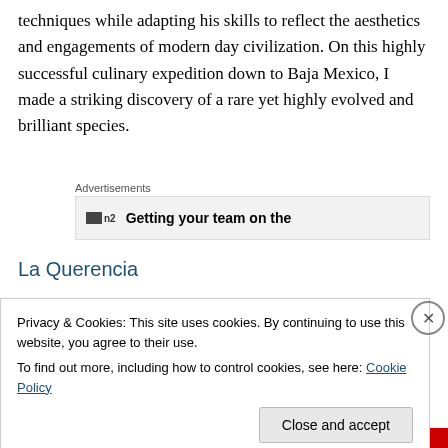techniques while adapting his skills to reflect the aesthetics and engagements of modern day civilization. On this highly successful culinary expedition down to Baja Mexico, I made a striking discovery of a rare yet highly evolved and brilliant species.
Advertisements
[Figure (screenshot): Advertisement banner showing a logo icon and text 'Getting your team on the']
La Querencia
Escuadron 201 No. 3110
Privacy & Cookies: This site uses cookies. By continuing to use this website, you agree to their use.
To find out more, including how to control cookies, see here: Cookie Policy
Close and accept